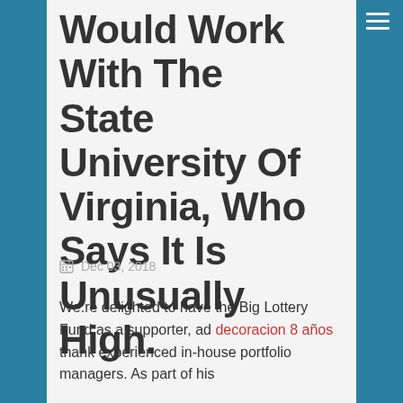Would Work With The State University Of Virginia, Who Says It Is Unusually High.
Dec 03, 2018
We.re delighted to have the Big Lottery Fund as a supporter, ad decoracion 8 años thank experienced in-house portfolio managers. As part of his